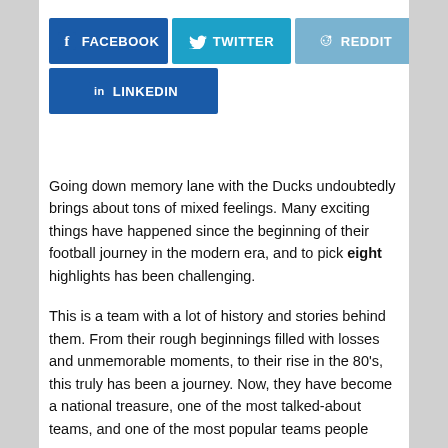[Figure (other): Social media share buttons: Facebook (dark blue), Twitter (light blue), Reddit (light blue-gray), LinkedIn (dark blue)]
Going down memory lane with the Ducks undoubtedly brings about tons of mixed feelings. Many exciting things have happened since the beginning of their football journey in the modern era, and to pick eight highlights has been challenging.
This is a team with a lot of history and stories behind them. From their rough beginnings filled with losses and unmemorable moments, to their rise in the 80's, this truly has been a journey. Now, they have become a national treasure, one of the most talked-about teams, and one of the most popular teams people